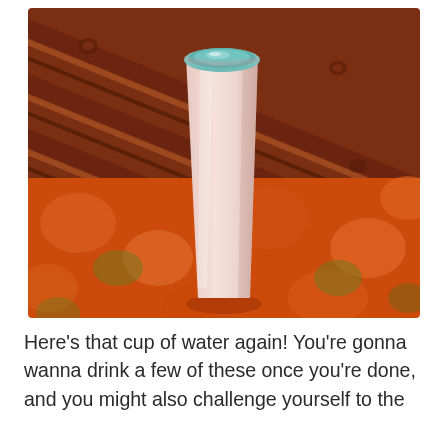[Figure (photo): A tall white tumbler cup with a teal/light blue interior rim, sitting on an orange and olive green floral patterned tablecloth. The background shows diagonal wood planks in reddish-brown color.]
Here’s that cup of water again! You’re gonna wanna drink a few of these once you’re done, and you might also challenge yourself to the